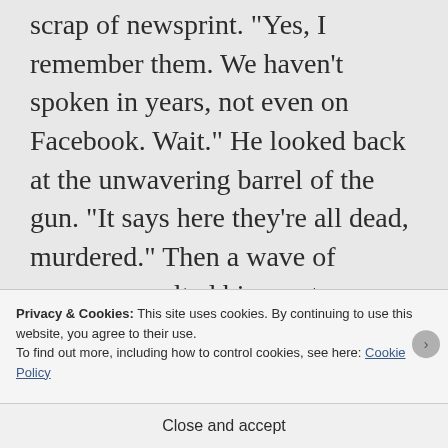scrap of newsprint. "Yes, I remember them. We haven't spoken in years, not even on Facebook. Wait." He looked back at the unwavering barrel of the gun. "It says here they're all dead, murdered." Then a wave of nausea assaulted his empty stomach. "You? You killed them?"
"Camilla and I never told anyone how you kept giving us drinks that night
Privacy & Cookies: This site uses cookies. By continuing to use this website, you agree to their use.
To find out more, including how to control cookies, see here: Cookie Policy
Close and accept